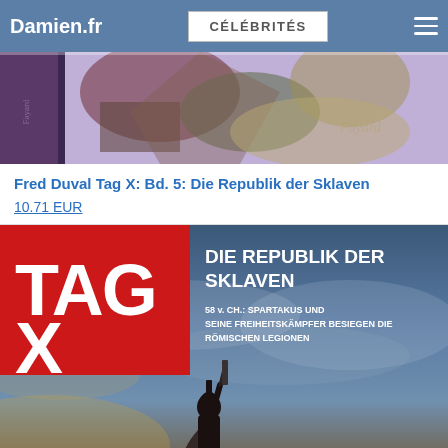Damien.fr | CÉLÉBRITÉS
[Figure (photo): Top partial image of a book or artwork with colorful abstract/cubist illustration]
Fred Duval Tag X: Bd. 5: Die Republik der Sklaven
10.71 EUR
[Figure (photo): Book cover of TAG X: Die Republik der Sklaven showing a red TAG X logo on left, white text on dark background reading DIE REPUBLIK DER SKLAVEN, subtitle 58 v. CH.: SPARTAKUS UND SEINE FREIHEITSKÄMPFER BESIEGEN DIE RÖMISCHEN LEGIONEN, with a dramatic sky and silhouetted figure below]